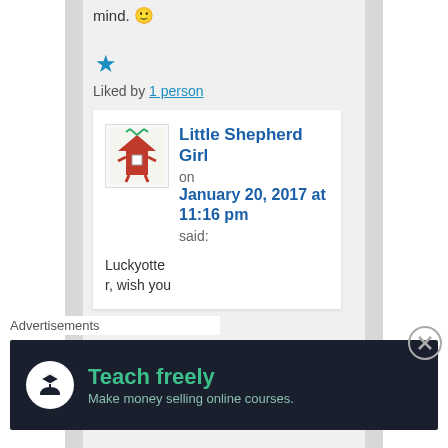mind. 🙂
[Figure (other): Blue star icon (like/favorite button)]
Liked by 1 person
Little Shepherd Girl on January 20, 2017 at 11:16 pm said:
[Figure (illustration): Avatar thumbnail showing a cartoon red house/character with green decoration]
Luckyotte r, wish you
Advertisements
[Figure (screenshot): Advertisement banner: dark background with teach icon, text 'Teach freely - Make money selling online courses.']